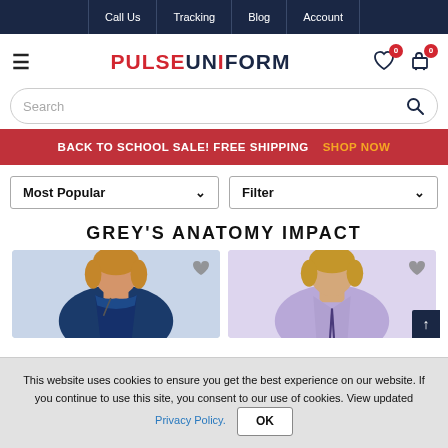Call Us | Tracking | Blog | Account
PULSEUNIFORM
Search
BACK TO SCHOOL SALE! FREE SHIPPING  SHOP NOW
Most Popular ∨
Filter ∨
GREY'S ANATOMY IMPACT
[Figure (photo): Two product images showing women in scrubs — left: navy blue scrub top, right: lavender/purple scrub top]
This website uses cookies to ensure you get the best experience on our website. If you continue to use this site, you consent to our use of cookies. View updated Privacy Policy.  OK